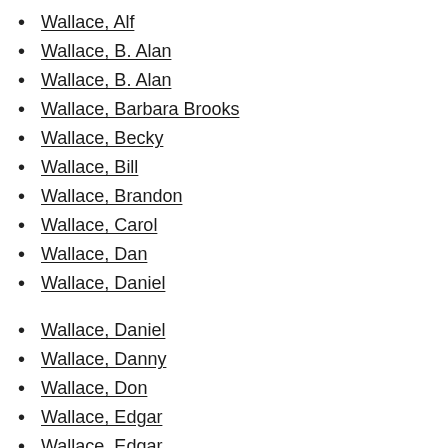Wallace, Alf
Wallace, B. Alan
Wallace, B. Alan
Wallace, Barbara Brooks
Wallace, Becky
Wallace, Bill
Wallace, Brandon
Wallace, Carol
Wallace, Dan
Wallace, Daniel
Wallace, Daniel
Wallace, Danny
Wallace, Don
Wallace, Edgar
Wallace, Edgar